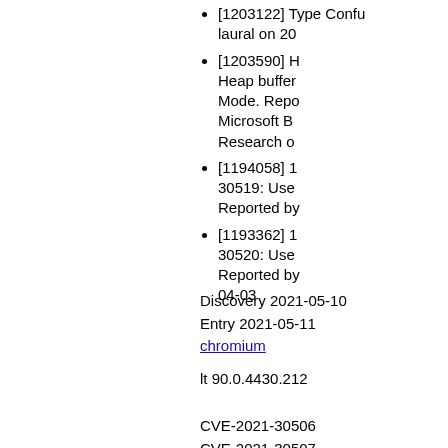[1203122] Type Confusion laural on 20
[1203590] Heap buffer overflow in Mode. Reported by Microsoft Browser Research on
[1194058] 30519: Use Reported by
[1193362] 30520: Use Reported by 04-03
Discovery 2021-05-10
Entry 2021-05-11
chromium
lt 90.0.4430.212
CVE-2021-30506
CVE-2021-30507